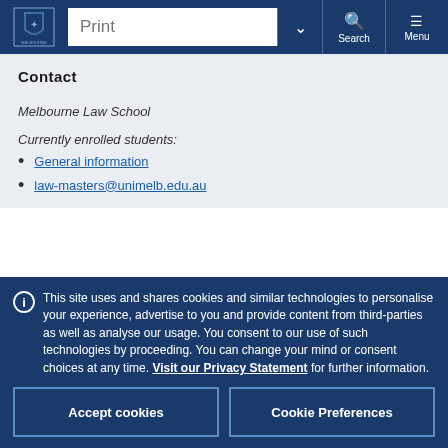University of Melbourne — Print | Search | Menu
Contact
Melbourne Law School
Currently enrolled students:
General information
law-masters@unimelb.edu.au
This site uses and shares cookies and similar technologies to personalise your experience, advertise to you and provide content from third-parties as well as analyse our usage. You consent to our use of such technologies by proceeding. You can change your mind or consent choices at any time. Visit our Privacy Statement for further information.
Accept cookies | Cookie Preferences